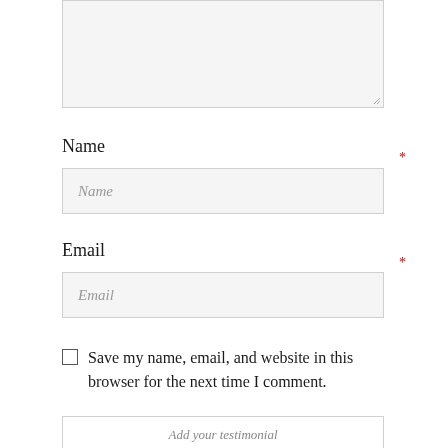[Figure (screenshot): A textarea input box with light gray background and a resize handle at bottom-right corner]
Name
[Figure (screenshot): A text input field with light gray background and italic placeholder text 'Name']
Email
[Figure (screenshot): A text input field with light gray background and italic placeholder text 'Email']
Save my name, email, and website in this browser for the next time I comment.
[Figure (screenshot): A button or input box with italic text 'Add your testimonial']